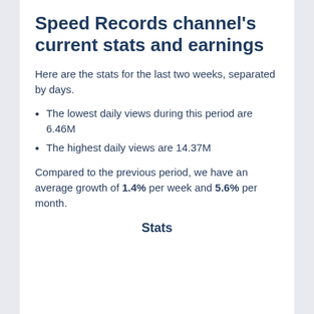Speed Records channel's current stats and earnings
Here are the stats for the last two weeks, separated by days.
The lowest daily views during this period are 6.46M
The highest daily views are 14.37M
Compared to the previous period, we have an average growth of 1.4% per week and 5.6% per month.
Stats